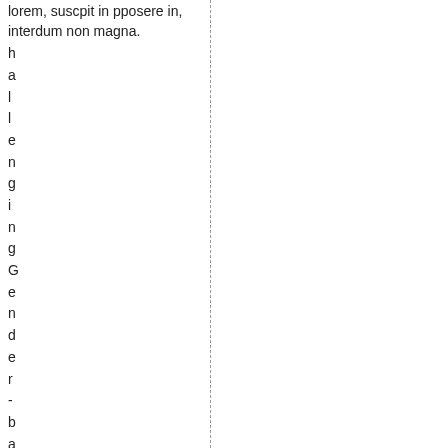lorem, suscpit in pposere in, interdum non magna.
h a l l e n g i n g G e n d e r - b a s e d V i o l e n c